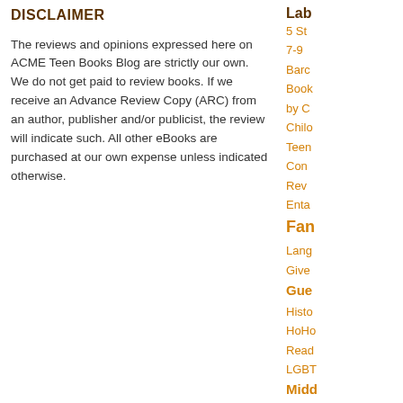DISCLAIMER
The reviews and opinions expressed here on ACME Teen Books Blog are strictly our own. We do not get paid to review books. If we receive an Advance Review Copy (ARC) from an author, publisher and/or publicist, the review will indicate such. All other eBooks are purchased at our own expense unless indicated otherwise.
Lab
5 St
7-9
Barc
Book
by C
Chilo
Teen
Con
Rev
Enta
Fan
Lang
Give
Gue
Histo
HoHo
Read
LGBT
Midd
Fanta
Non-
Pers
Tour